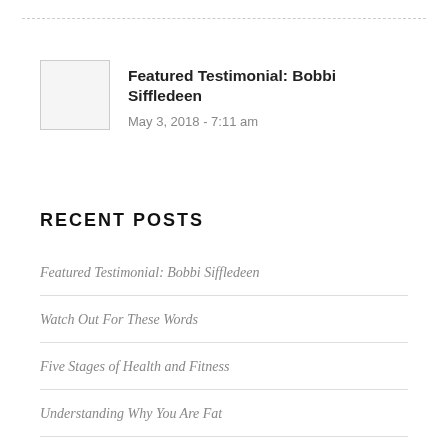[Figure (photo): Small thumbnail image placeholder (gray/white square)]
Featured Testimonial: Bobbi Siffledeen
May 3, 2018 - 7:11 am
RECENT POSTS
Featured Testimonial: Bobbi Siffledeen
Watch Out For These Words
Five Stages of Health and Fitness
Understanding Why You Are Fat
Wiping Your Own Butt for a Lifetime